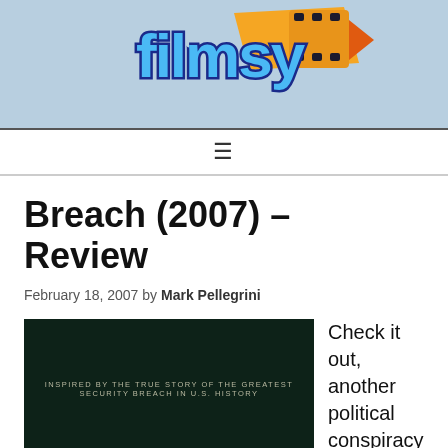[Figure (logo): Filmsy website logo on light blue banner background. 'filmsy' text in blue with white outline and film strip graphic in orange/gold.]
≡
Breach (2007) – Review
February 18, 2007 by Mark Pellegrini
[Figure (screenshot): Dark green/black movie screenshot with text: INSPIRED BY THE TRUE STORY OF THE GREATEST SECURITY BREACH IN U.S. HISTORY]
Check it out, another political conspiracy